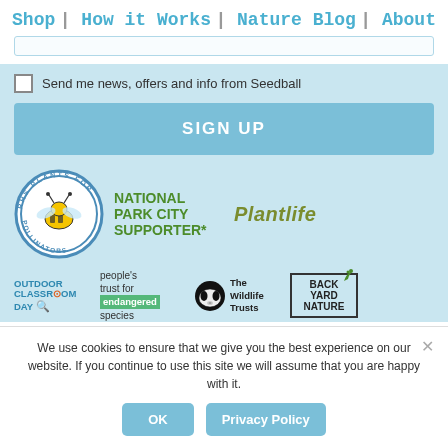Shop | How it Works | Nature Blog | About
Send me news, offers and info from Seedball
SIGN UP
[Figure (logo): RHS Plants for Pollinators circular logo with bee]
[Figure (logo): National Park City Supporter* logo in green bold text]
[Figure (logo): Plantlife logo in olive/yellow-green italic text]
[Figure (logo): Outdoor Classroom Day logo in blue and orange]
[Figure (logo): People's Trust for Endangered Species logo]
[Figure (logo): The Wildlife Trusts logo with badger]
[Figure (logo): Back Yard Nature logo in bordered box]
We use cookies to ensure that we give you the best experience on our website. If you continue to use this site we will assume that you are happy with it.
OK
Privacy Policy